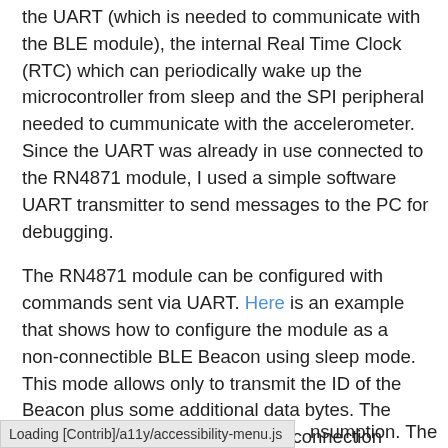the UART (which is needed to communicate with the BLE module), the internal Real Time Clock (RTC) which can periodically wake up the microcontroller from sleep and the SPI peripheral needed to cummunicate with the accelerometer. Since the UART was already in use connected to the RN4871 module, I used a simple software UART transmitter to send messages to the PC for debugging.
The RN4871 module can be configured with commands sent via UART. Here is an example that shows how to configure the module as a non-connectible BLE Beacon using sleep mode. This mode allows only to transmit the ID of the Beacon plus some additional data bytes. The advantage is, that no permanent connection (pairing) is needed and by varying the advertising (i.e. transmission) delay, [Loading status bar] nsumption. The
Loading [Contrib]/a11y/accessibility-menu.js